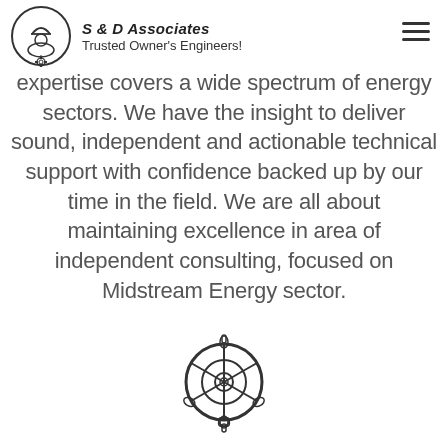S & D Associates — Trusted Owner's Engineers!
expertise covers a wide spectrum of energy sectors. We have the insight to deliver sound, independent and actionable technical support with confidence backed up by our time in the field. We are all about maintaining excellence in area of independent consulting, focused on Midstream Energy sector.
[Figure (logo): Ship's wheel / helm icon used as decorative logo at bottom of page]